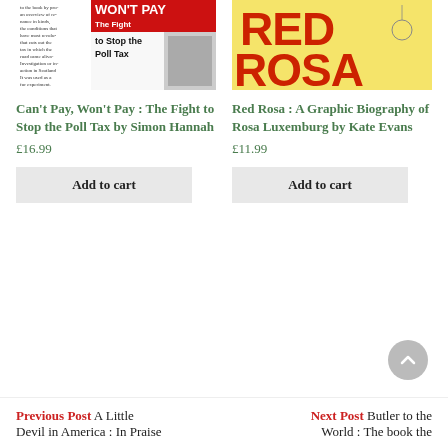[Figure (photo): Book cover of Can't Pay, Won't Pay: The Fight to Stop the Poll Tax by Simon Hannah — black and white newspaper-style cover with bold text]
[Figure (photo): Book cover of Red Rosa: A Graphic Biography of Rosa Luxemburg by Kate Evans — yellow background with large red text RED ROSA]
Can't Pay, Won't Pay : The Fight to Stop the Poll Tax by Simon Hannah
£16.99
Add to cart
Red Rosa : A Graphic Biography of Rosa Luxemburg by Kate Evans
£11.99
Add to cart
Previous Post A Little Devil in America : In Praise
Next Post Butler to the World : The book the